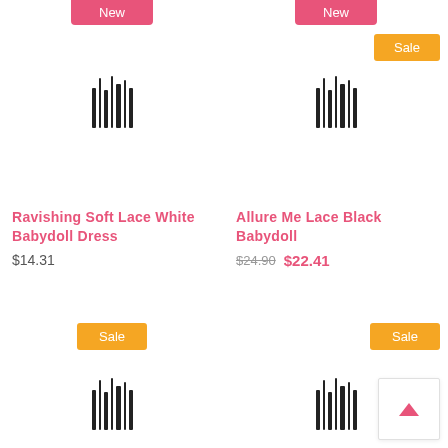[Figure (illustration): Product card placeholder image for Ravishing Soft Lace White Babydoll Dress with New badge]
Ravishing Soft Lace White Babydoll Dress
$14.31
[Figure (illustration): Product card placeholder image for Allure Me Lace Black Babydoll with New and Sale badges]
Allure Me Lace Black Babydoll
$24.90  $22.41
[Figure (illustration): Product card placeholder image with Sale badge (bottom left card)]
[Figure (illustration): Product card placeholder image with Sale badge (bottom right card)]